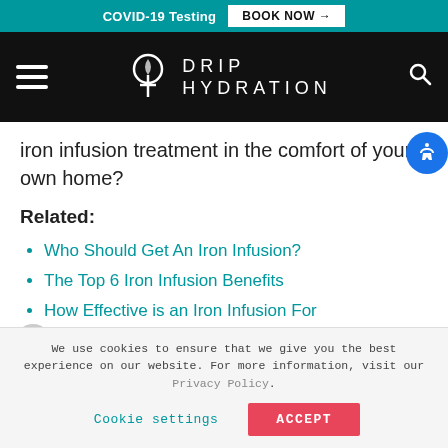COVID-19 Testing  BOOK NOW →
[Figure (logo): Drip Hydration logo with hamburger menu and search icon on black navigation bar]
iron infusion treatment in the comfort of your own home?
Related:
Who Should Get An Iron Infusion?
The Top 6 Iron Infusion Benefits
How Effective is an Iron Infusion For Anemia?
We use cookies to ensure that we give you the best experience on our website. For more information, visit our Privacy Policy.
Cookie settings   ACCEPT